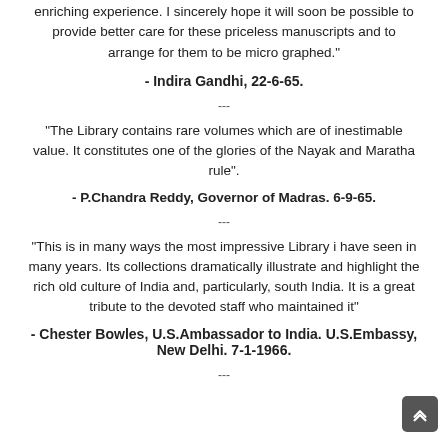enriching experience. I sincerely hope it will soon be possible to provide better care for these priceless manuscripts and to arrange for them to be micro graphed."
- Indira Gandhi, 22-6-65.
---
"The Library contains rare volumes which are of inestimable value. It constitutes one of the glories of the Nayak and Maratha rule".
- P.Chandra Reddy, Governor of Madras. 6-9-65.
---
"This is in many ways the most impressive Library i have seen in many years. Its collections dramatically illustrate and highlight the rich old culture of India and, particularly, south India. It is a great tribute to the devoted staff who maintained it"
- Chester Bowles, U.S.Ambassador to India. U.S.Embassy, New Delhi. 7-1-1966.
---